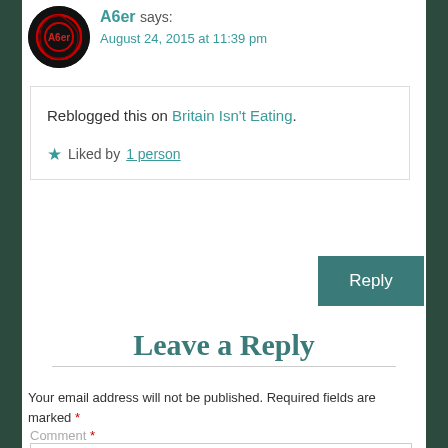[Figure (photo): Circular avatar image with dark background, red circular/spiral design, and text 'A6er']
A6er says:
August 24, 2015 at 11:39 pm
Reblogged this on Britain Isn't Eating.
Liked by 1 person
Reply
Leave a Reply
Your email address will not be published. Required fields are marked *
Comment *